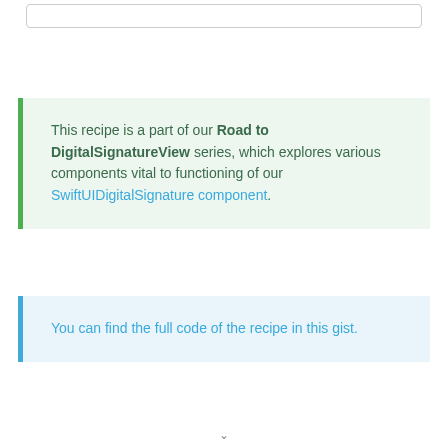[Figure (other): Empty rounded rectangle box at top of page]
This recipe is a part of our Road to DigitalSignatureView series, which explores various components vital to functioning of our SwiftUIDigitalSignature component.
You can find the full code of the recipe in this gist.
v